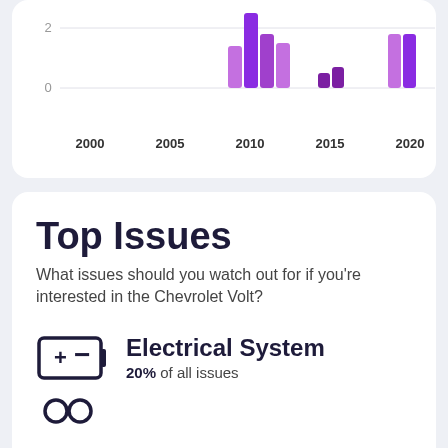[Figure (bar-chart): Issues by year]
Top Issues
What issues should you watch out for if you're interested in the Chevrolet Volt?
Electrical System — 20% of all issues